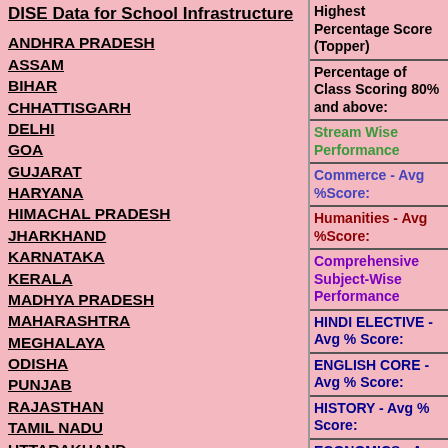DISE Data for School Infrastructure
ANDHRA PRADESH
ASSAM
BIHAR
CHHATTISGARH
DELHI
GOA
GUJARAT
HARYANA
HIMACHAL PRADESH
JHARKHAND
KARNATAKA
KERALA
MADHYA PRADESH
MAHARASHTRA
MEGHALAYA
ODISHA
PUNJAB
RAJASTHAN
TAMIL NADU
UTTARAKHAND
UTTAR PRADESH
WEST BENGAL
Highest Percentage Score (Topper)
Percentage of Class Scoring 80% and above:
Stream Wise Performance
Commerce - Avg %Score:
Humanities - Avg %Score:
Comprehensive Subject-Wise Performance
HINDI ELECTIVE - Avg % Score:
ENGLISH CORE - Avg % Score:
HISTORY - Avg % Score:
ECONOMICS - Avg % Score: